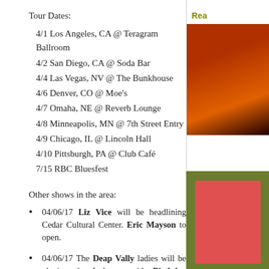Tour Dates:
4/1 Los Angeles, CA @ Teragram Ballroom
4/2 San Diego, CA @ Soda Bar
4/4 Las Vegas, NV @ The Bunkhouse
4/6 Denver, CO @ Moe's
4/7 Omaha, NE @ Reverb Lounge
4/8 Minneapolis, MN @ 7th Street Entry
4/9 Chicago, IL @ Lincoln Hall
4/10 Pittsburgh, PA @ Club Café
7/15 RBC Bluesfest
Other shows in the area:
04/06/17 Liz Vice will be headlining Cedar Cultural Center. Eric Mayson to open.
04/06/17 The Deap Vally ladies will be playing the Icehouse with Birthday Suits. Please note that these Icehouse shows starts at 11:30pm.
04/07/17 The Ferdy Mayne will be playing the Reverie Cafe & Bar. Its single constant member Shane O'Malley Firek was going through a massive change by giving up drinking: "Before my sobriety, I was completely insane, in and out of
[Figure (photo): Partial view of a person or figure in warm reddish-orange tones, cropped at the right edge of the page top section]
[Figure (illustration): Olive green background with a coral/salmon colored rectangular block, bottom right side panel]